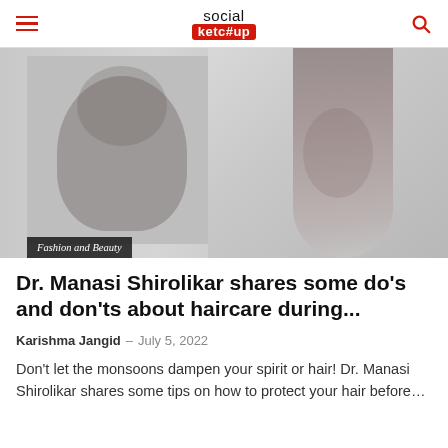social ketc#up
[Figure (photo): Hero image showing two overlapping photos: left shows a person with hair treatment/mask, right shows a smiling woman with long dark hair. Both are in greyscale/muted tones. A dark badge at bottom-left reads 'Fashion and Beauty'.]
Dr. Manasi Shirolikar shares some do's and don'ts about haircare during...
Karishma Jangid – July 5, 2022
Don't let the monsoons dampen your spirit or hair! Dr. Manasi Shirolikar shares some tips on how to protect your hair before...